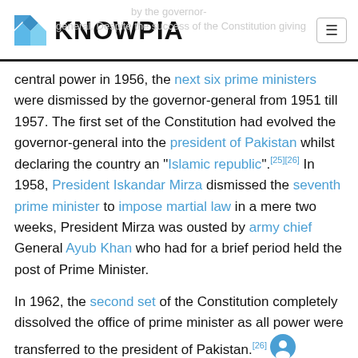KNOWPIA
central power in 1956, the next six prime ministers were dismissed by the governor-general from 1951 till 1957. The first set of the Constitution had evolved the governor-general into the president of Pakistan whilst declaring the country an "Islamic republic".[25][26] In 1958, President Iskandar Mirza dismissed the seventh prime minister to impose martial law in a mere two weeks, President Mirza was ousted by army chief General Ayub Khan who had for a brief period held the post of Prime Minister.
In 1962, the second set of the Constitution completely dissolved the office of prime minister as all power were transferred to the president of Pakistan.[26] Criticism over the presidency after the presidential